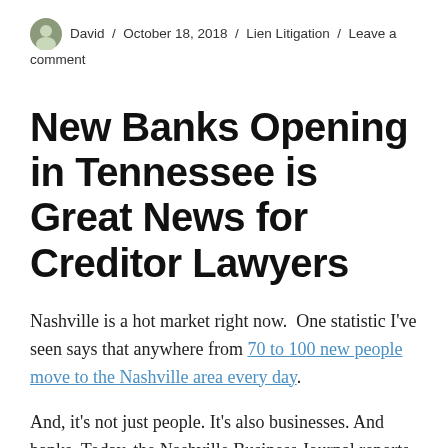David / October 18, 2018 / Lien Litigation / Leave a comment
New Banks Opening in Tennessee is Great News for Creditor Lawyers
Nashville is a hot market right now.  One statistic I've seen says that anywhere from 70 to 100 new people move to the Nashville area every day.
And, it's not just people. It's also businesses. And banks. Today, the Nashville Business Journal reports that JPMorgan Chase is opening its first standalone branch in Nashville. Earlier this year, PNC Bank